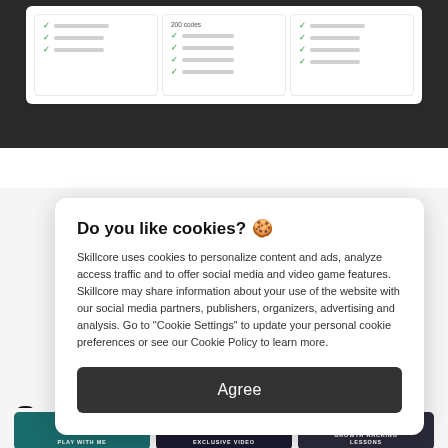[Figure (screenshot): Pricing card with three columns, each showing green checkmark list items with gray bars representing features. Middle column shows '200 codes' tag.]
Do you like cookies? 🍪
Skillcore uses cookies to personalize content and ads, analyze access traffic and to offer social media and video game features. Skillcore may share information about your use of the website with our social media partners, publishers, organizers, advertising and analysis. Go to "Cookie Settings" to update your personal cookie preferences or see our Cookie Policy to learn more.
Agree
[Figure (screenshot): Three thumbnail cards at bottom: PLAY WITH ME (teal), EXCLUSIVE VIDEO (dark navy), GROWTH HACKING LESSONS (dark)]